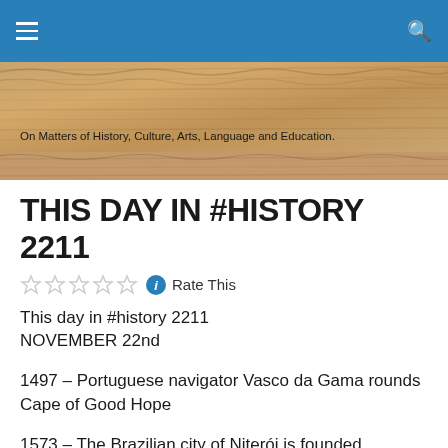On Matters of History, Culture, Arts, Language and Education.
THIS DAY IN #HISTORY 2211
Rate This
This day in #history 2211
NOVEMBER 22nd
1497 – Portuguese navigator Vasco da Gama rounds Cape of Good Hope
1573 – The Brazilian city of Niterói is founded.